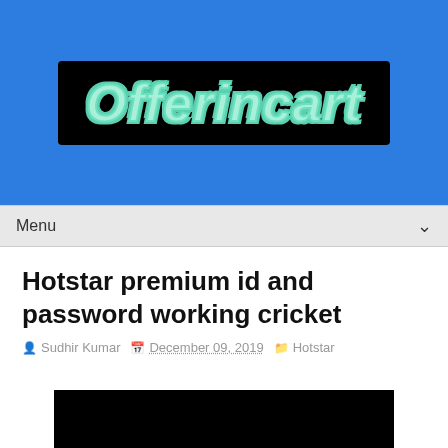[Figure (logo): Offerincart logo — mint/cyan colored retro bubbly italic text on black background, set against a blue background header]
Menu
Hotstar premium id and password working cricket
Sudhir Kumar   December 09, 2019   Hotstar
[Figure (logo): Hotstar logo — white bold 'hotstar' text with yellow-green star graphic on black background]